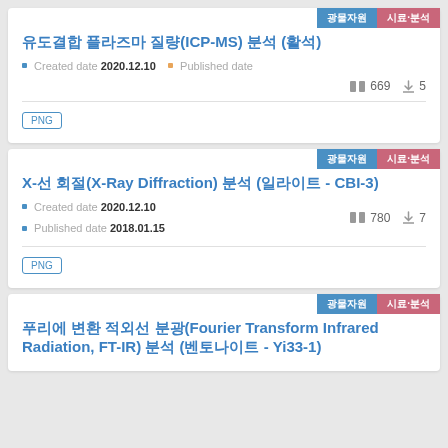유도결합 플라즈마 질량(ICP-MS) 분석 (활석)
Created date 2020.12.10 · Published date
669 views · 5 downloads
PNG
X-선 회절(X-Ray Diffraction) 분석 (일라이트 - CBI-3)
Created date 2020.12.10
Published date 2018.01.15
780 views · 7 downloads
PNG
푸리에 변환 적외선 분광(Fourier Transform Infrared Radiation, FT-IR) 분석 (벤토나이트 - Yi33-1)